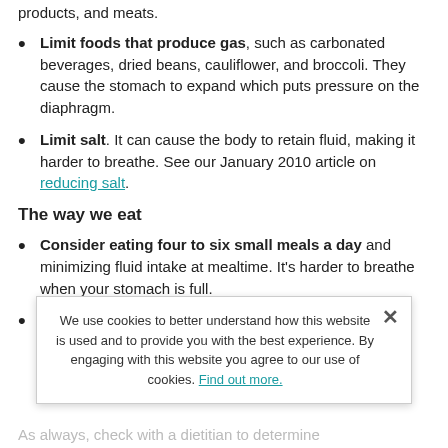products, and meats.
Limit foods that produce gas, such as carbonated beverages, dried beans, cauliflower, and broccoli. They cause the stomach to expand which puts pressure on the diaphragm.
Limit salt. It can cause the body to retain fluid, making it harder to breathe. See our January 2010 article on reducing salt.
The way we eat
Consider eating four to six small meals a day and minimizing fluid intake at mealtime. It's harder to breathe when your stomach is full.
Eat earlier in the day. If energy is generally low by digestion, focus on consuming more of the day...
As always, check with a dietitian to determine
We use cookies to better understand how this website is used and to provide you with the best experience. By engaging with this website you agree to our use of cookies. Find out more.